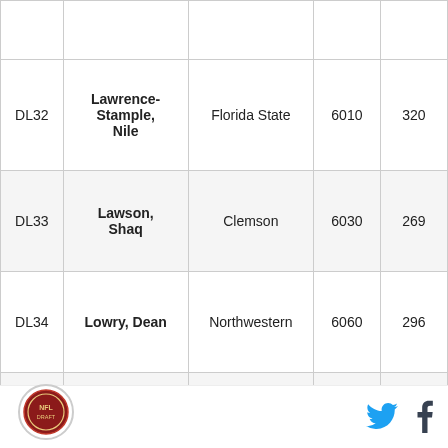|  | Name | School | Height | Weight |
| --- | --- | --- | --- | --- |
| DL32 | Lawrence-Stample, Nile | Florida State | 6010 | 320 |
| DL33 | Lawson, Shaq | Clemson | 6030 | 269 |
| DL34 | Lowry, Dean | Northwestern | 6060 | 296 |
| DL35 | Maddy, Luther | Virginia Tech | 6000 | 287 |
| DL36 | Mayes, Chris | Georgia | 6030 | 338 |